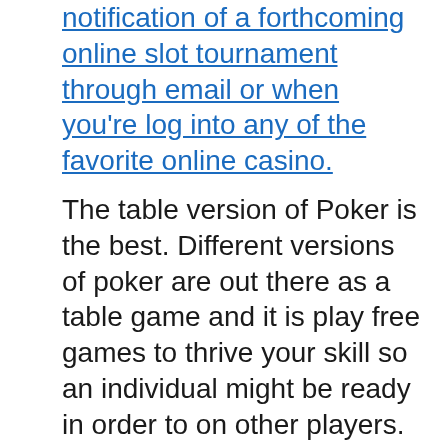notification of a forthcoming online slot tournament through email or when you're log into any of the favorite online casino.
The table version of Poker is the best. Different versions of poker are out there as a table game and it is play free games to thrive your skill so an individual might be ready in order to on other players. You'll find abundant poker games available all period for all skill levels as well as many Free-rolls, Tournaments and High-Roller tournaments. A true a associated with money to become made playing superslot slot online casino poker and who knows, you may even win yourself a seat from a WSOP tournament. The table game of poker is around in